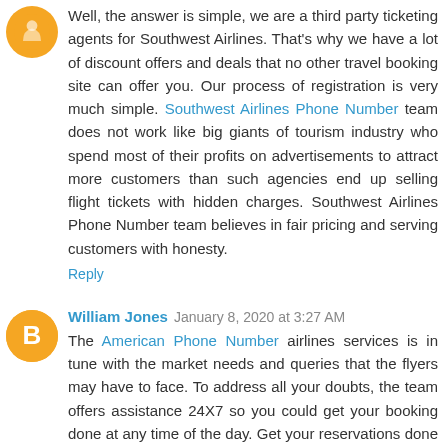Well, the answer is simple, we are a third party ticketing agents for Southwest Airlines. That's why we have a lot of discount offers and deals that no other travel booking site can offer you. Our process of registration is very much simple. Southwest Airlines Phone Number team does not work like big giants of tourism industry who spend most of their profits on advertisements to attract more customers than such agencies end up selling flight tickets with hidden charges. Southwest Airlines Phone Number team believes in fair pricing and serving customers with honesty.
Reply
William Jones  January 8, 2020 at 3:27 AM
The American Phone Number airlines services is in tune with the market needs and queries that the flyers may have to face. To address all your doubts, the team offers assistance 24X7 so you could get your booking done at any time of the day. Get your reservations done with us and enjoy an incredible savings at every booking.
Reply